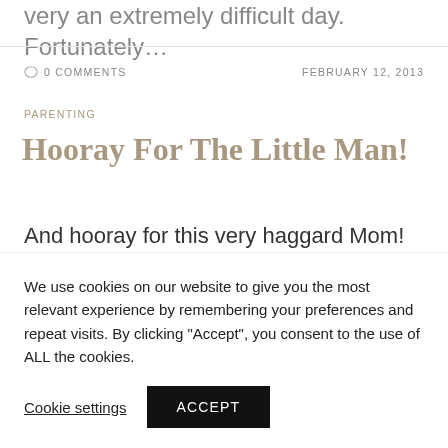very an extremely difficult day. Fortunately…
0 COMMENTS   FEBRUARY 12, 2013
PARENTING
Hooray For The Little Man!
And hooray for this very haggard Mom! The Little Man is a month old today. I cannot
We use cookies on our website to give you the most relevant experience by remembering your preferences and repeat visits. By clicking "Accept", you consent to the use of ALL the cookies.
Cookie settings
ACCEPT